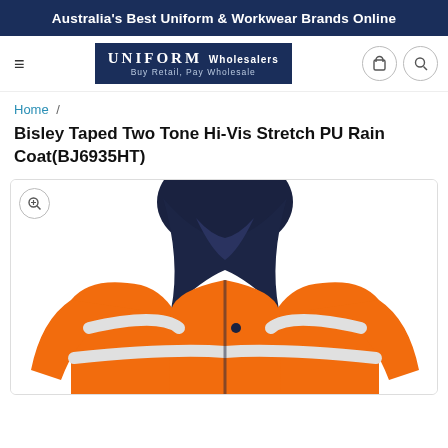Australia's Best Uniform & Workwear Brands Online
[Figure (logo): Uniform Wholesalers logo — navy blue box with 'UNIFORM Wholesalers' and tagline 'Buy Retail, Pay Wholesale']
Home /
Bisley Taped Two Tone Hi-Vis Stretch PU Rain Coat(BJ6935HT)
[Figure (photo): Hi-vis orange and navy two-tone rain jacket with reflective white tape stripes across the chest, shown from front-upper torso angle]